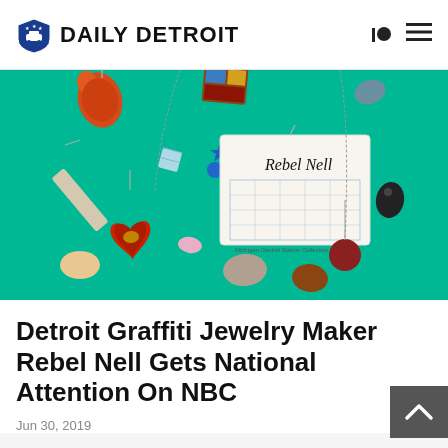DAILY DETROIT
[Figure (photo): Photo of colorful graffiti jewelry pieces — pendants shaped like mittens, abstract shapes, small rocks and gems — arranged on a teal/green background. A tag card reading 'Rebel Nell' and 'Michigan Central Station Collection' is visible in the center.]
Detroit Graffiti Jewelry Maker Rebel Nell Gets National Attention On NBC
Jun 30, 2019